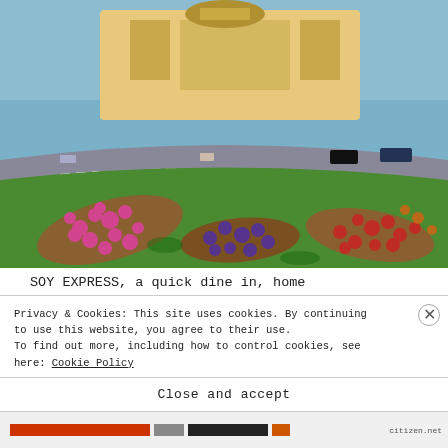[Figure (photo): Aerial/wide-angle photo of Al Raha Mall exterior showing a grand building with colorful flower garden beds in the foreground including pink, red, and purple flowers arranged in geometric patterns, with a curved road and green lawns visible.]
SOY EXPRESS, a quick dine in, home delivery and take away concept serving Chinese and Thai specialties is now open at Al Raha Mall serving Asian delights such as Hakka noodles, dim sums, spring
Privacy & Cookies: This site uses cookies. By continuing to use this website, you agree to their use.
To find out more, including how to control cookies, see here: Cookie Policy
Close and accept